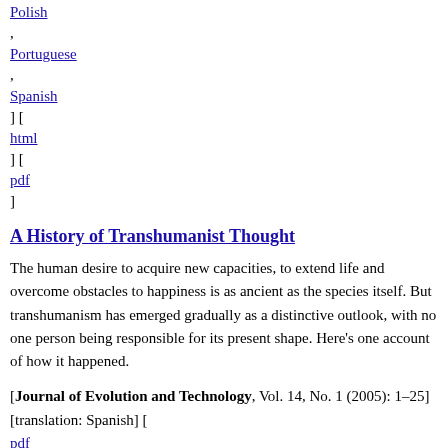Polish
,
Portuguese
,
Spanish
] [
html
] [
pdf
]
A History of Transhumanist Thought
The human desire to acquire new capacities, to extend life and overcome obstacles to happiness is as ancient as the species itself. But transhumanism has emerged gradually as a distinctive outlook, with no one person being responsible for its present shape. Here's one account of how it happened.
[Journal of Evolution and Technology, Vol. 14, No. 1 (2005): 1–25] [translation: Spanish] [
pdf
]
Risk & The Future